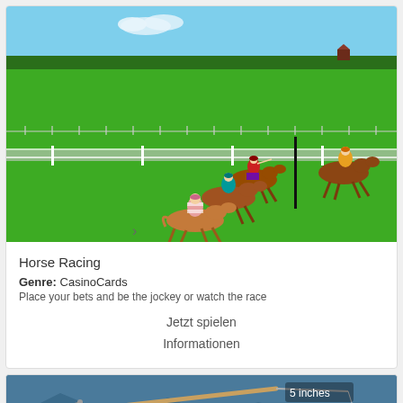[Figure (screenshot): Horse racing video game screenshot showing jockeys on horses racing on a green track with white fence rails, blue sky background with trees in the distance]
Horse Racing
Genre: CasinoCards
Place your bets and be the jockey or watch the race
Jetzt spielen
Informationen
[Figure (screenshot): Fishing game screenshot showing a fishing rod with a reel and line, text '5 inches' on the right, dark blue water background]